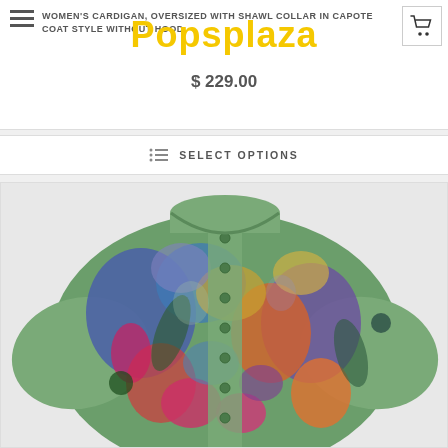Popsplaza
WOMEN'S CARDIGAN, OVERSIZED WITH SHAWL COLLAR IN CAPOTE COAT STYLE WITHOUT HOOD,
$ 229.00
SELECT OPTIONS
[Figure (photo): Colorful women's cardigan with floral/abstract multicolor pattern in greens, blues, reds, oranges, and purples with green buttons down the front]